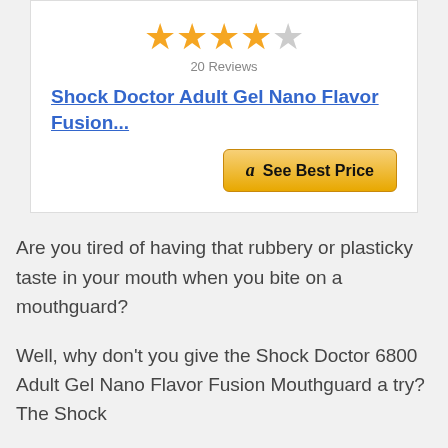[Figure (other): Star rating widget showing 4 out of 5 stars (4 filled gold stars, 1 empty/gray star)]
20 Reviews
Shock Doctor Adult Gel Nano Flavor Fusion...
[Figure (other): Amazon 'See Best Price' button with Amazon logo]
Are you tired of having that rubbery or plasticky taste in your mouth when you bite on a mouthguard?
Well, why don't you give the Shock Doctor 6800 Adult Gel Nano Flavor Fusion Mouthguard a try? The Shock